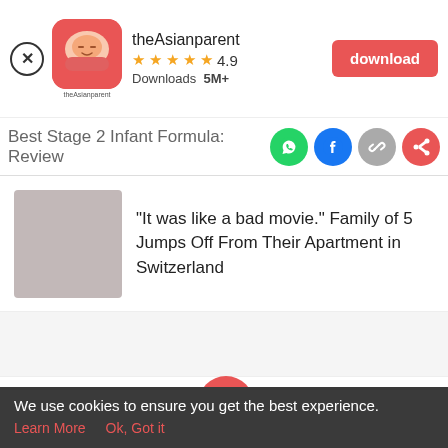[Figure (screenshot): theAsianparent app banner with close button, app icon, name, rating 4.9, Downloads 5M+, and red download button]
Best Stage 2 Infant Formula: Review
[Figure (infographic): Social share icons: WhatsApp (green), Facebook (blue), link (grey), share (red)]
"It was like a bad movie." Family of 5 Jumps Off From Their Apartment in Switzerland
[Figure (infographic): Bottom navigation bar with Tools, Articles, center pink baby feet button, Feed, Poll icons]
We use cookies to ensure you get the best experience.
Learn More   Ok, Got it